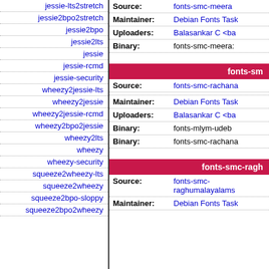jessie-lts2stretch
jessie2bpo2stretch
jessie2bpo
jessie2lts
jessie
jessie-rcmd
jessie-security
wheezy2jessie-lts
wheezy2jessie
wheezy2jessie-rcmd
wheezy2bpo2jessie
wheezy2lts
wheezy
wheezy-security
squeeze2wheezy-lts
squeeze2wheezy
squeeze2bpo-sloppy
squeeze2bpo2wheezy
fonts-sm...
Source: fonts-smc-meera
Maintainer: Debian Fonts Task
Uploaders: Balasankar C <ba
Binary: fonts-smc-meera:
fonts-smc-rach...
Source: fonts-smc-rachana
Maintainer: Debian Fonts Task
Uploaders: Balasankar C <ba
Binary: fonts-mlym-udeb
Binary: fonts-smc-rachana
fonts-smc-ragh...
Source: fonts-smc-raghumalayalams
Maintainer: Debian Fonts Task